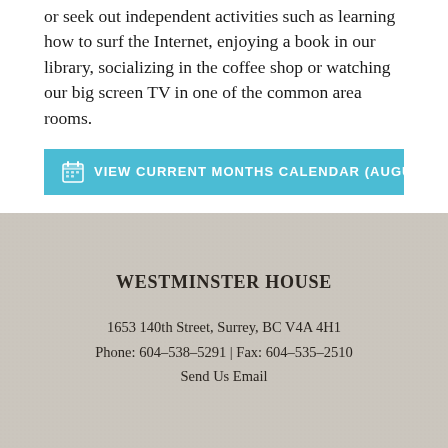or seek out independent activities such as learning how to surf the Internet, enjoying a book in our library, socializing in the coffee shop or watching our big screen TV in one of the common area rooms.
VIEW CURRENT MONTHS CALENDAR (AUGUST, 2022)
WESTMINSTER HOUSE
1653 140th Street, Surrey, BC V4A 4H1
Phone: 604-538-5291 | Fax: 604-535-2510
Send Us Email